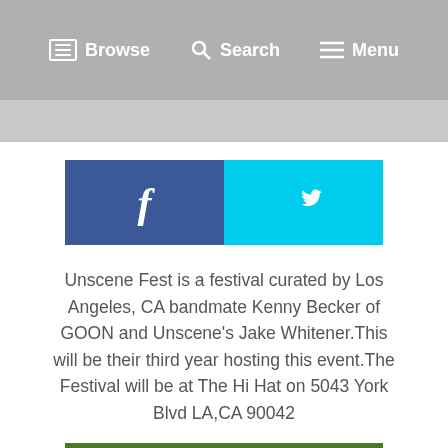Browse  Search  Menu
[Figure (other): Social share buttons: Facebook (blue) and Twitter (cyan) side by side]
Unscene Fest is a festival curated by Los Angeles, CA bandmate Kenny Becker of GOON and Unscene's Jake Whitener.This will be their third year hosting this event.The Festival will be at The Hi Hat on 5043 York Blvd LA,CA 90042
[Figure (photo): Promotional image for Unscene Fest showing flowers/greenery with large bold text overlay at the bottom]